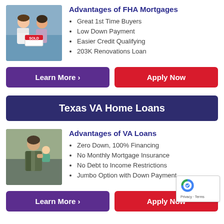[Figure (photo): Couple holding a SOLD sign, smiling]
Advantages of FHA Mortgages
Great 1st Time Buyers
Low Down Payment
Easier Credit Qualifying
203K Renovations Loan
Learn More >
Apply Now
Texas VA Home Loans
[Figure (photo): Military man in camouflage holding a baby]
Advantages of VA Loans
Zero Down, 100% Financing
No Monthly Mortgage Insurance
No Debt to Income Restrictions
Jumbo Option with Down Payment
Learn More >
Apply Now